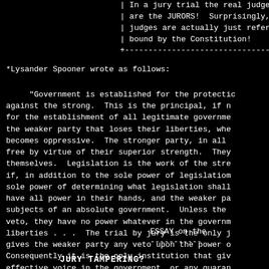| In a jury trial the real judges
| are the JURORS!  Surprisingly,
| judges are actually just refere
| bound by the Constitution!
+-----------------------------------
*Lysander Spooner wrote as follows:
"Government is established for the protecti on against the strong.  This is the principal, if n for the establishment of all legitimate governme the weaker party that loses their liberties, wh becomes oppressive.  The stronger party, in all free by virtue of their superior strength.  The themselves.  Legislation is the work of the str if, in addition to the sole power of legislatio sole power of determining what legislation shal have all power in their hands, and the weaker p subjects of an absolute government.  Unless the veto, they have no power whatever in the govern liberties . . .  The trial by jury is the only gives the weaker party any veto upon the power Consequently it is the only institution that g effective voice in the government, or any guara oppression.
ESSAY on th
-----------
JURY TAMPERING?